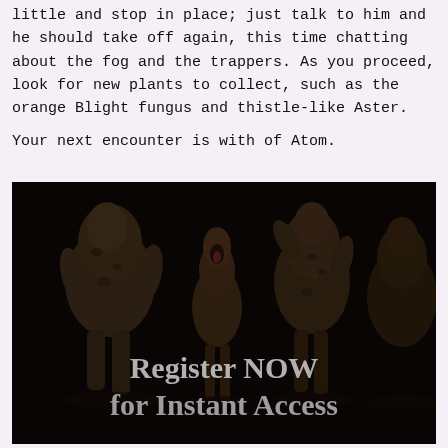little and stop in place; just talk to him and he should take off again, this time chatting about the fog and the trappers. As you proceed, look for new plants to collect, such as the orange Blight fungus and thistle-like Aster.

Your next encounter is with of Atom.
[Figure (photo): Dark image of several alien/creature figures standing against a black background, with overlaid text reading 'Register NOW for Instant Access']